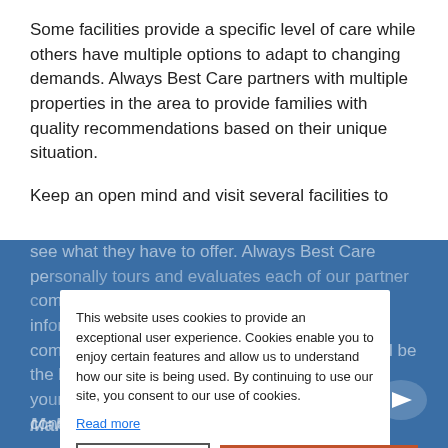Some facilities provide a specific level of care while others have multiple options to adapt to changing demands. Always Best Care partners with multiple properties in the area to provide families with quality recommendations based on their unique situation.
Keep an open mind and visit several facilities to see what they have to offer. Always Best Care personally tours and evaluates each of our partner communities to provide families with current information and first-hand experience. Be comfortable with their options. Not every site will be the best fit, and that's okay, so be honest about your needs. There are always other facilities to consider.
This website uses cookies to provide an exceptional user experience. Cookies enable you to enjoy certain features and allow us to understand how our site is being used. By continuing to use our site, you consent to our use of cookies.
Read more
Decline
Accept Cookies
Making the Transition